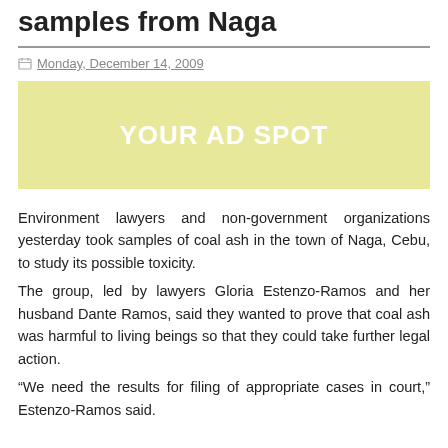samples from Naga
Monday, December 14, 2009
[Figure (other): Advertisement placeholder box with text YOUR AD SPOT on yellow background]
Environment lawyers and non-government organizations yesterday took samples of coal ash in the town of Naga, Cebu, to study its possible toxicity.
The group, led by lawyers Gloria Estenzo-Ramos and her husband Dante Ramos, said they wanted to prove that coal ash was harmful to living beings so that they could take further legal action.
“We need the results for filing of appropriate cases in court,” Estenzo-Ramos said.